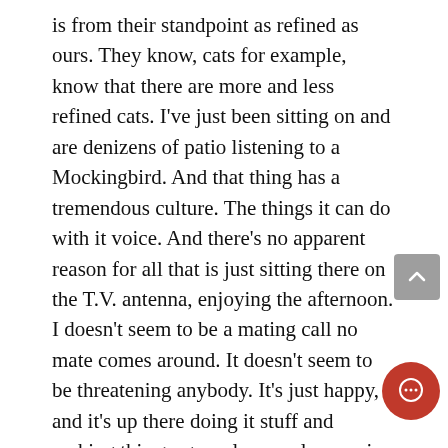is from their standpoint as refined as ours. They know, cats for example,  know that there are more and less refined cats. I've just been sitting on and are denizens of patio listening to a Mockingbird. And that thing has a tremendous culture. The things it can do with it voice. And there's no apparent reason for all that is just sitting there on the T.V. antenna, enjoying the afternoon. I doesn't seem to be a mating call no mate comes around. It doesn't seem to be threatening anybody. It's just happy, and it's up there doing it stuff and making this gorgeously complex music and it's much more complex than we can hear. There are things in the qualities of the voice, subtle tiny changes, that are perfectly fascinating. This creature is unencumbered with codes in other words we judge people's culture to